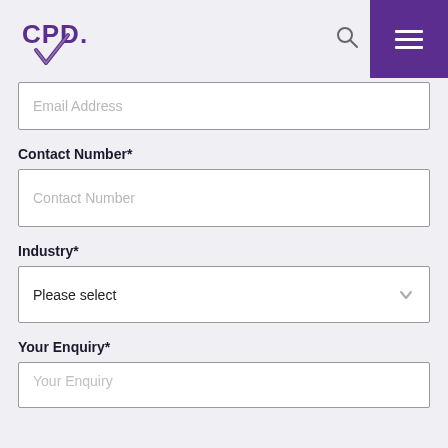CPD logo, search icon, and menu button
Email Address
Contact Number*
Contact Number
Industry*
Please select
Your Enquiry*
Your Enquiry